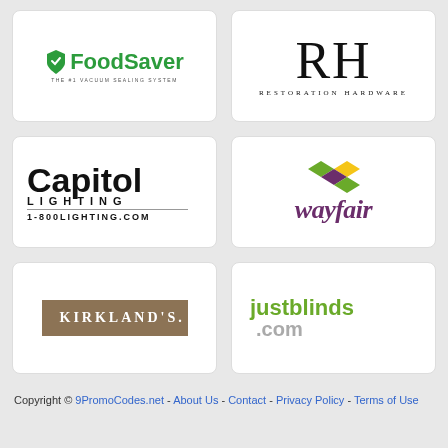[Figure (logo): FoodSaver logo - green shield icon with 'FoodSaver' in green bold text and tagline 'THE #1 VACUUM SEALING SYSTEM']
[Figure (logo): RH (Restoration Hardware) logo - large serif RH letters with 'RESTORATION HARDWARE' below]
[Figure (logo): Capitol Lighting logo - bold 'Capitol' text, 'LIGHTING' spaced letters, '1-800LIGHTING.COM' below]
[Figure (logo): Wayfair logo - purple italic 'wayfair' text with colorful diamond/cross shape above]
[Figure (logo): Kirkland's logo - white uppercase 'KIRKLAND'S.' text on brown/tan background box]
[Figure (logo): justblinds.com logo - green 'justblinds' with gray '.com' text]
Copyright © 9PromoCodes.net - About Us - Contact - Privacy Policy - Terms of Use